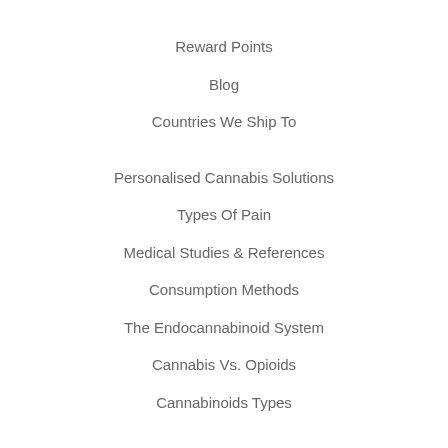Reward Points
Blog
Countries We Ship To
Personalised Cannabis Solutions
Types Of Pain
Medical Studies & References
Consumption Methods
The Endocannabinoid System
Cannabis Vs. Opioids
Cannabinoids Types